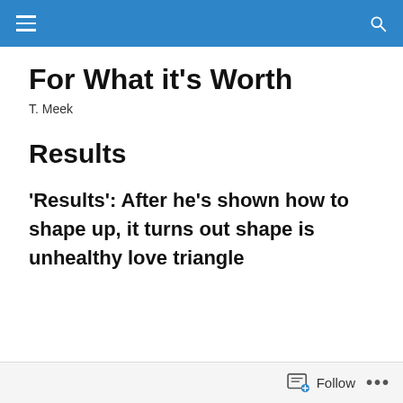For What it's Worth — navigation bar
For What it's Worth
T. Meek
Results
'Results': After he's shown how to shape up, it turns out shape is unhealthy love triangle
Follow ...